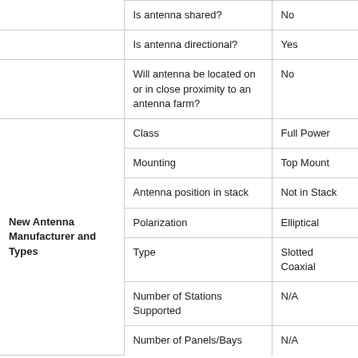|  | Is antenna shared? | No |
|  | Is antenna directional? | Yes |
|  | Will antenna be located on or in close proximity to an antenna farm? | No |
| New Antenna Manufacturer and Types | Class | Full Power |
|  | Mounting | Top Mount |
|  | Antenna position in stack | Not in Stack |
|  | Polarization | Elliptical |
|  | Type | Slotted Coaxial |
|  | Number of Stations Supported | N/A |
|  | Number of Panels/Bays | N/A |